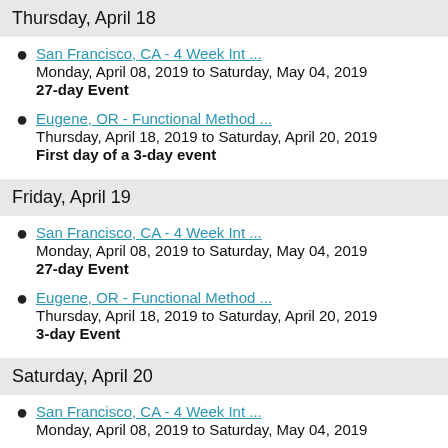Thursday, April 18
San Francisco, CA - 4 Week Int ...
Monday, April 08, 2019 to Saturday, May 04, 2019
27-day Event
Eugene, OR - Functional Method ...
Thursday, April 18, 2019 to Saturday, April 20, 2019
First day of a 3-day event
Friday, April 19
San Francisco, CA - 4 Week Int ...
Monday, April 08, 2019 to Saturday, May 04, 2019
27-day Event
Eugene, OR - Functional Method ...
Thursday, April 18, 2019 to Saturday, April 20, 2019
3-day Event
Saturday, April 20
San Francisco, CA - 4 Week Int ...
Monday, April 08, 2019 to Saturday, May 04, 2019